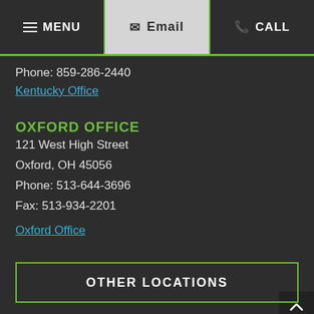MENU | Email | CALL
Phone: 859-286-2440
Kentucky Office
OXFORD OFFICE
121 West High Street
Oxford, OH 45056
Phone: 513-644-3696
Fax: 513-934-2201
Oxford Office
OTHER LOCATIONS